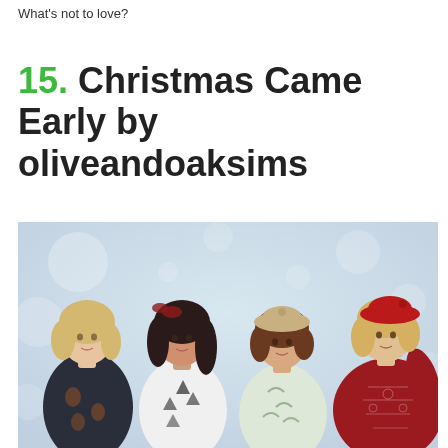What's not to love?
15. Christmas Came Early by oliveandoaksims
[Figure (photo): Four Sims characters dressed in Christmas sweaters standing together against a soft blurry winter background. From left to right: a blonde in a pine cone patterned sweater, a dark-haired sim with a bow headband in a white Christmas tree sweater, a brunette in a light green reindeer/leaf sweater wearing a tan beret, and a blonde in a red Nordic/Fair Isle sweater wearing a red beret.]